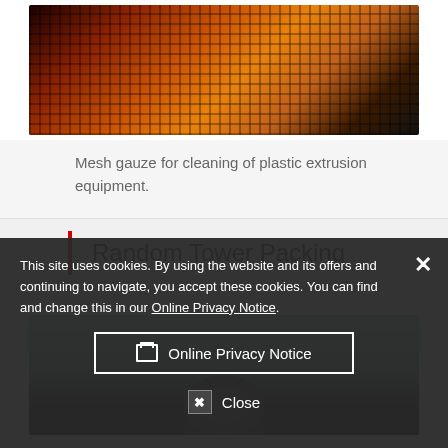[Figure (photo): Close-up photo of orange and gold metallic mesh gauze material against a dark background, used for cleaning plastic extrusion equipment.]
Mesh gauze for cleaning of plastic extrusion equipment.
Random Tower Packing
[Figure (photo): Photo of random tower packing material — a metallic spiral or coil shaped packing piece shown against a light blue-grey background with dark lower portion.]
This site uses cookies. By using the website and its offers and continuing to navigate, you accept these cookies. You can find and change this in our Online Privacy Notice.